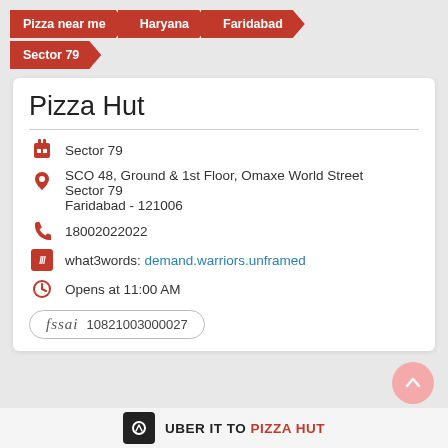Pizza near me > Haryana > Faridabad
Sector 79
Pizza Hut
Sector 79
SCO 48, Ground & 1st Floor, Omaxe World Street Sector 79 Faridabad - 121006
18002022022
what3words: demand.warriors.unframed
Opens at 11:00 AM
fssai 10821003000027
UBER IT TO PIZZA HUT